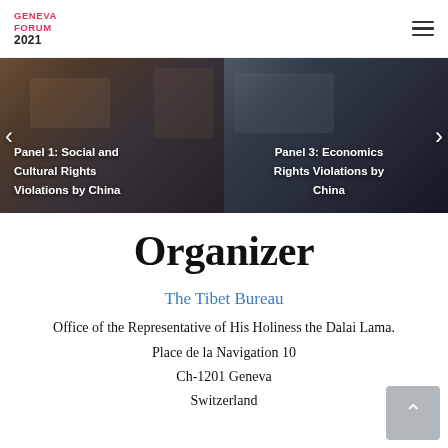GENEVA FORUM 2021
[Figure (photo): Two-panel banner image. Left panel shows colorful cultural imagery with text 'Panel 1: Social and Cultural Rights Violations by China'. Right panel shows a military or crowd scene with text 'Panel 3: Economics Rights Violations by China'. Left and right navigation arrows are visible.]
Organizer
The Tibet Bureau
Office of the Representative of His Holiness the Dalai Lama.
Place de la Navigation 10
Ch-1201 Geneva
Switzerland